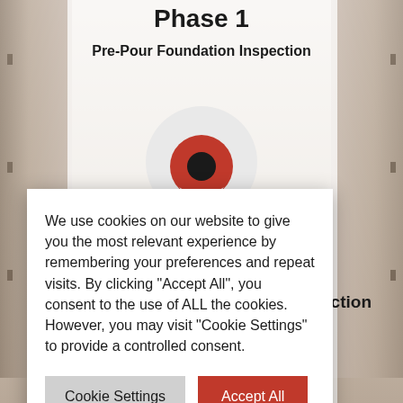Phase 1
Pre-Pour Foundation Inspection
[Figure (illustration): Background photo of a bright home interior with white French doors and a large location pin icon (red and white) overlaid on the center. A partial red location pin is visible at the bottom.]
ction
We use cookies on our website to give you the most relevant experience by remembering your preferences and repeat visits. By clicking “Accept All”, you consent to the use of ALL the cookies. However, you may visit "Cookie Settings" to provide a controlled consent.